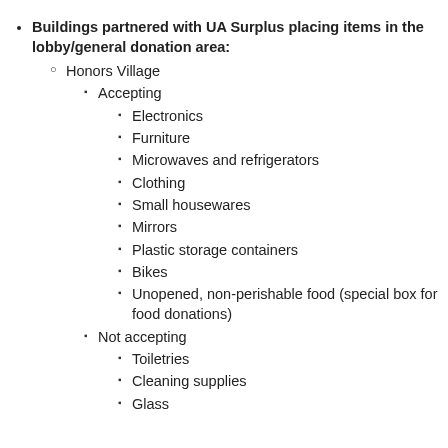Buildings partnered with UA Surplus placing items in the lobby/general donation area:
Honors Village
Accepting
Electronics
Furniture
Microwaves and refrigerators
Clothing
Small housewares
Mirrors
Plastic storage containers
Bikes
Unopened, non-perishable food (special box for food donations)
Not accepting
Toiletries
Cleaning supplies
Glass